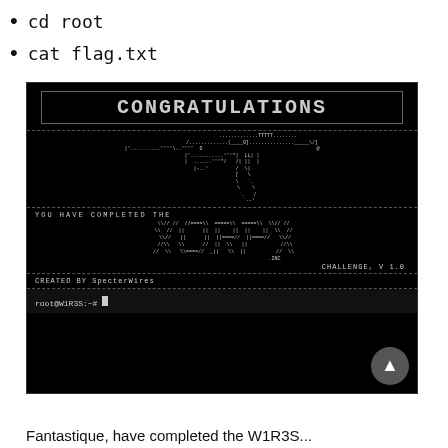cd root
cat flag.txt
[Figure (screenshot): Terminal screenshot showing CONGRATULATIONS banner in ASCII art with a rifle ASCII art, 'YOU HAVE COMPLETED THE WIRES.INC CHALLENGE, V 1.0', 'CREATED BY SpecterWires', and a root prompt at the bottom.]
Fantastique, have completed the W1R3S...